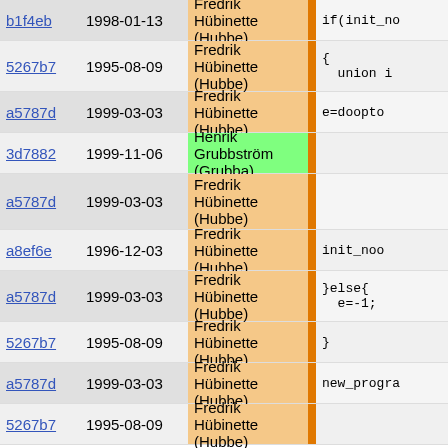| hash | date | author | code |
| --- | --- | --- | --- |
| b1f4eb | 1998-01-13 | Fredrik Hübinette (Hubbe) | if(init_no |
| 5267b7 | 1995-08-09 | Fredrik Hübinette (Hubbe) | {
  union i |
| a5787d | 1999-03-03 | Fredrik Hübinette (Hubbe) | e=doopto |
| 3d7882 | 1999-11-06 | Henrik Grubbström (Grubba) |  |
| a5787d | 1999-03-03 | Fredrik Hübinette (Hubbe) |  |
| a8ef6e | 1996-12-03 | Fredrik Hübinette (Hubbe) | init_noo |
| a5787d | 1999-03-03 | Fredrik Hübinette (Hubbe) | }else{
  e=-1; |
| 5267b7 | 1995-08-09 | Fredrik Hübinette (Hubbe) | } |
| a5787d | 1999-03-03 | Fredrik Hübinette (Hubbe) | new_progra |
| 5267b7 | 1995-08-09 | Fredrik Hübinette (Hubbe) |  |
| 61e9a0 | 1998-01-25 | Fredrik Hübinette (Hubbe) | free_strin |
| b1f4eb | 1998-01-13 | Fredrik Hübinette (Hubbe) | pop_compil
if(num_par |
| 5267b7 | 1995-08-09 | Fredrik Hübinette (Hubbe) | {
  prog=0;
}else{ |